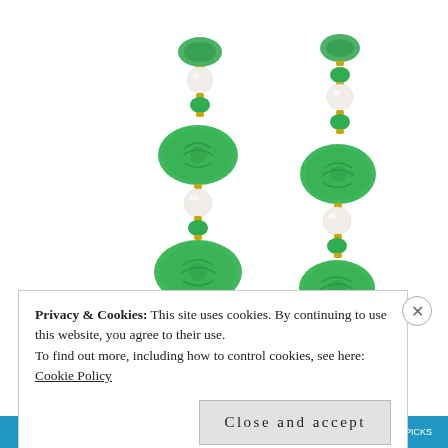[Figure (photo): Product photo of a jade and pearl beaded necklace shown in two vertical strands. Green carved oval jade beads alternate with round white pearls connected by gold-tone fittings, on a white background.]
Privacy & Cookies: This site uses cookies. By continuing to use this website, you agree to their use.
To find out more, including how to control cookies, see here:
Cookie Policy
Close and accept